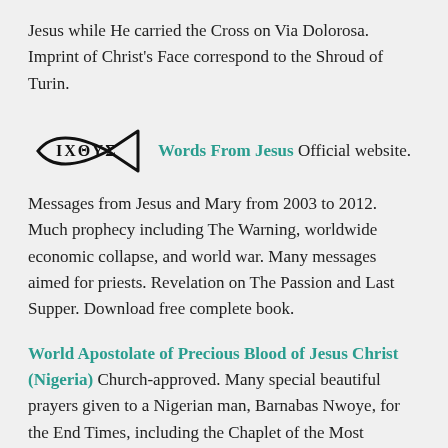Jesus while He carried the Cross on Via Dolorosa. Imprint of Christ’s Face correspond to the Shroud of Turin.
[Figure (illustration): Ichthys fish symbol with Greek letters IXΘYΣ inside]
Words From Jesus Official website. Messages from Jesus and Mary from 2003 to 2012. Much prophecy including The Warning, worldwide economic collapse, and world war. Many messages aimed for priests. Revelation on The Passion and Last Supper. Download free complete book.
World Apostolate of Precious Blood of Jesus Christ (Nigeria) Church-approved. Many special beautiful prayers given to a Nigerian man, Barnabas Nwoye, for the End Times, including the Chaplet of the Most Precious Blood to be recited immediately after the Most